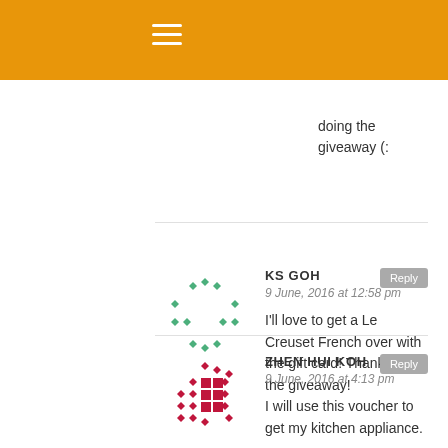doing the giveaway (:
KS GOH
9 June, 2016 at 12:58 pm
I'll love to get a Le Creuset French over with the gift card! Thanks for the giveaway!
ZHEN HUI KOH
9 June, 2016 at 4:13 pm
I will use this voucher to get my kitchen appliance.